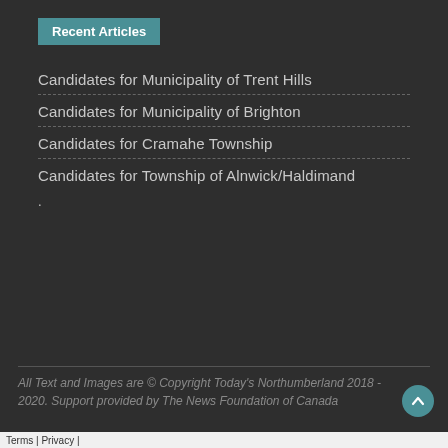Recent Articles
Candidates for Municipality of Trent Hills
Candidates for Municipality of Brighton
Candidates for Cramahe Township
Candidates for Township of Alnwick/Haldimand
.
All Text and Images are © Copyright Today's Northumberland 2018 - 2020. Support provided by The News Foundation of Canada
Terms | Privacy |